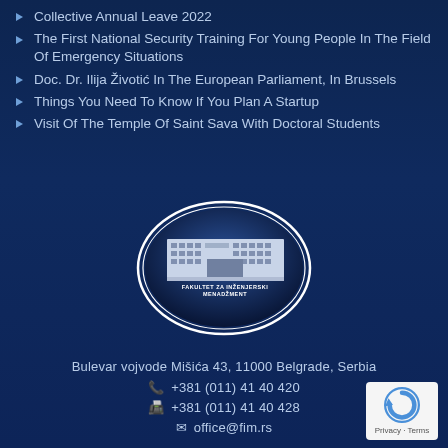Collective Annual Leave 2022
The First National Security Training For Young People In The Field Of Emergency Situations
Doc. Dr. Ilija Životić In The European Parliament, In Brussels
Things You Need To Know If You Plan A Startup
Visit Of The Temple Of Saint Sava With Doctoral Students
[Figure (logo): Oval logo of Fakultet Za Inženjerski Menadžment featuring a building facade illustration on a blue gradient background with white oval border]
Bulevar vojvode Mišića 43, 11000 Belgrade, Serbia
+381 (011) 41 40 420
+381 (011) 41 40 428
office@fim.rs
[Figure (logo): reCAPTCHA logo with Privacy and Terms text]